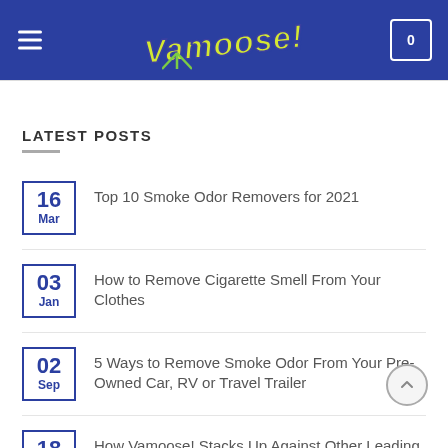Vamoose! — navigation header with hamburger menu and cart icon showing 0
LATEST POSTS
16 Mar — Top 10 Smoke Odor Removers for 2021
03 Jan — How to Remove Cigarette Smell From Your Clothes
02 Sep — 5 Ways to Remove Smoke Odor From Your Pre-Owned Car, RV or Travel Trailer
18 May — How Vamoose! Stacks Up Against Other Leading Aerosol Odor Removers